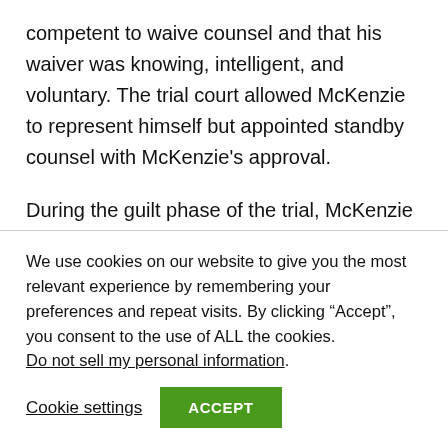competent to waive counsel and that his waiver was knowing, intelligent, and voluntary. The trial court allowed McKenzie to represent himself but appointed standby counsel with McKenzie's approval.
During the guilt phase of the trial, McKenzie admitted that he went to the victims' home on October 4 with the intention of taking their money. McKenzie also admitted that he hit both Johnston and Peacock with the hatchet
We use cookies on our website to give you the most relevant experience by remembering your preferences and repeat visits. By clicking “Accept”, you consent to the use of ALL the cookies. Do not sell my personal information.